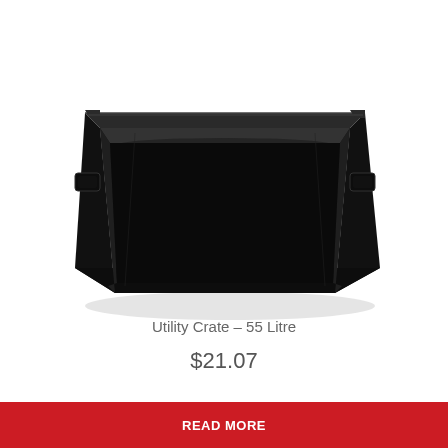[Figure (photo): A black plastic utility crate/tub, rectangular shape, viewed from a slight angle showing the open top and front face. It has handles/slots on the sides and a solid dark body.]
Utility Crate – 55 Litre
$21.07
READ MORE